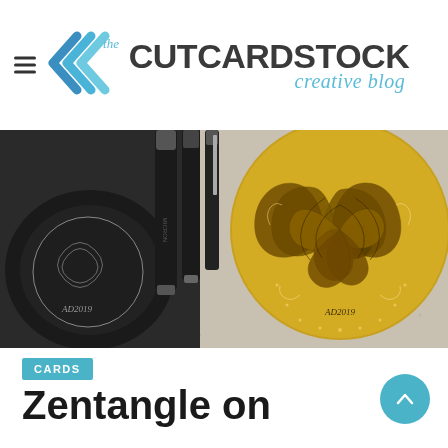the CutCardStock creative blog
[Figure (photo): Photo of a golden circular Zentangle artwork with intricate swirling patterns, surrounded by black marker pens on a gray surface]
CARDS
Zentangle on